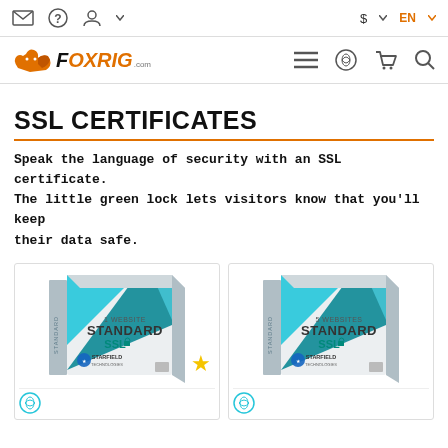FoxRig.com navigation bar with email, help, account, currency ($), and language (EN) icons
[Figure (logo): FoxRig.com logo with orange fox illustration and bold italic text]
SSL CERTIFICATES
Speak the language of security with an SSL certificate. The little green lock lets visitors know that you'll keep their data safe.
[Figure (photo): Product box: 1 Website Standard SSL - Starfield certificate, with a gold star icon]
[Figure (photo): Product box: 5 Websites Standard SSL - Starfield certificate]